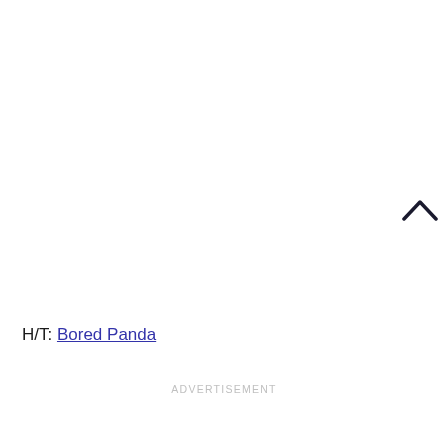[Figure (other): Upward chevron arrow icon used as a scroll-to-top button, positioned at the right edge of the page]
H/T: Bored Panda
ADVERTISEMENT